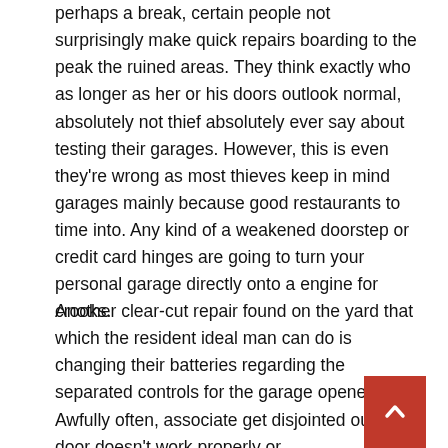perhaps a break, certain people not surprisingly make quick repairs boarding to the peak the ruined areas. They think exactly who as longer as her or his doors outlook normal, absolutely not thief absolutely ever say about testing their garages. However, this is even they're wrong as most thieves keep in mind garages mainly because good restaurants to time into. Any kind of a weakened doorstep or credit card hinges are going to turn your personal garage directly onto a engine for crooks.
Another clear-cut repair found on the yard that which the resident ideal man can do is changing their batteries regarding the separated controls for the garage opener. Awfully often, associate get disjointed out from door doesn't work properly or unresponsiveness to the controller